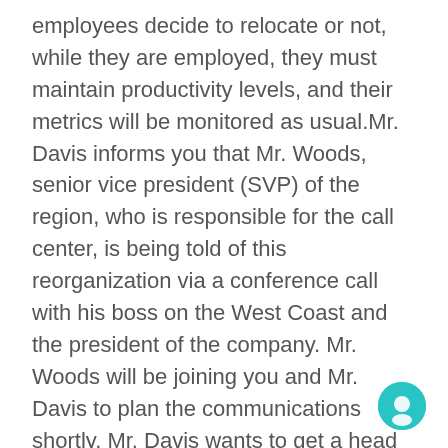employees decide to relocate or not, while they are employed, they must maintain productivity levels, and their metrics will be monitored as usual.Mr. Davis informs you that Mr. Woods, senior vice president (SVP) of the region, who is responsible for the call center, is being told of this reorganization via a conference call with his boss on the West Coast and the president of the company. Mr. Woods will be joining you and Mr. Davis to plan the communications shortly. Mr. Davis wants to get a head start on planning with you because he has a flight scheduled back to headquarters that afternoon.You begin to outline a plan for the communications strategy; for example, you include information that will assist Mr. Woods in preparation for his meeting with his direct reports where he will deliver the news. Other questions you think about during the development of the outline are as follows: What information will Mr. Woods give to his direct repo this afternoon, and what will he give them to share with